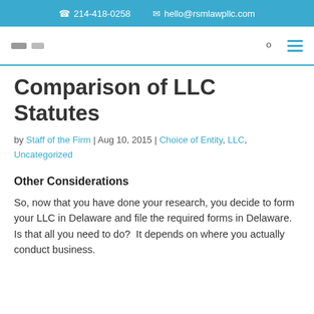📞 214-418-0258   ✉ hello@rsmlawpllc.com
Comparison of LLC Statutes
by Staff of the Firm | Aug 10, 2015 | Choice of Entity, LLC, Uncategorized
Other Considerations
So, now that you have done your research, you decide to form your LLC in Delaware and file the required forms in Delaware.  Is that all you need to do?  It depends on where you actually conduct business.